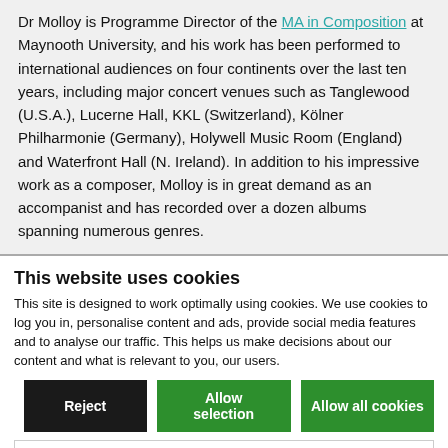Dr Molloy is Programme Director of the MA in Composition at Maynooth University, and his work has been performed to international audiences on four continents over the last ten years, including major concert venues such as Tanglewood (U.S.A.), Lucerne Hall, KKL (Switzerland), Kölner Philharmonie (Germany), Holywell Music Room (England) and Waterfront Hall (N. Ireland). In addition to his impressive work as a composer, Molloy is in great demand as an accompanist and has recorded over a dozen albums spanning numerous genres.
This website uses cookies
This site is designed to work optimally using cookies. We use cookies to log you in, personalise content and ads, provide social media features and to analyse our traffic. This helps us make decisions about our content and what is relevant to you, our users.